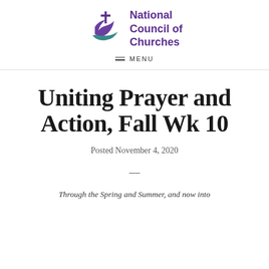[Figure (logo): National Council of Churches logo with cross and swoosh in purple and teal]
MENU
Uniting Prayer and Action, Fall Wk 10
Posted November 4, 2020
—
Through the Spring and Summer, and now into